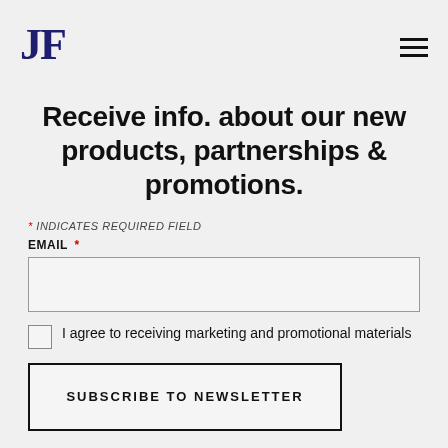JF [logo] [hamburger menu]
Receive info. about our new products, partnerships & promotions.
* INDICATES REQUIRED FIELD
EMAIL *
I agree to receiving marketing and promotional materials
SUBSCRIBE TO NEWSLETTER
2022 Portfolio | Line Card